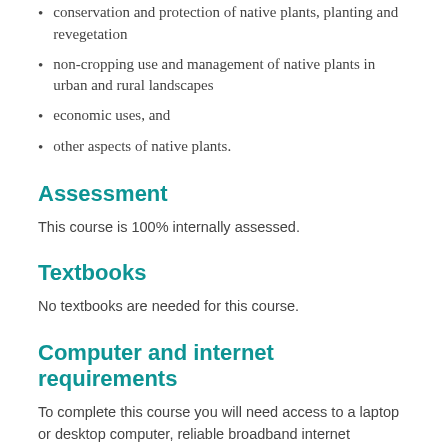conservation and protection of native plants, planting and revegetation
non-cropping use and management of native plants in urban and rural landscapes
economic uses, and
other aspects of native plants.
Assessment
This course is 100% internally assessed.
Textbooks
No textbooks are needed for this course.
Computer and internet requirements
To complete this course you will need access to a laptop or desktop computer, reliable broadband internet connection and a data plan able to support online learning such as